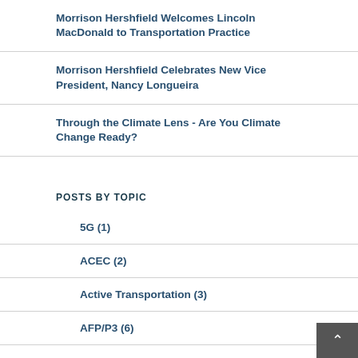Morrison Hershfield Welcomes Lincoln MacDonald to Transportation Practice
Morrison Hershfield Celebrates New Vice President, Nancy Longueira
Through the Climate Lens - Are You Climate Change Ready?
POSTS BY TOPIC
5G (1)
ACEC (2)
Active Transportation (3)
AFP/P3 (6)